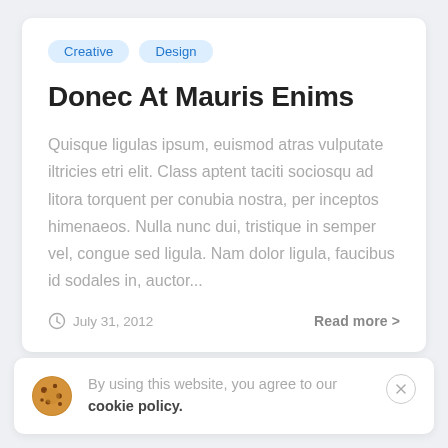Creative   Design
Donec At Mauris Enims
Quisque ligulas ipsum, euismod atras vulputate iltricies etri elit. Class aptent taciti sociosqu ad litora torquent per conubia nostra, per inceptos himenaeos. Nulla nunc dui, tristique in semper vel, congue sed ligula. Nam dolor ligula, faucibus id sodales in, auctor...
July 31, 2012   Read more >
By using this website, you agree to our cookie policy.